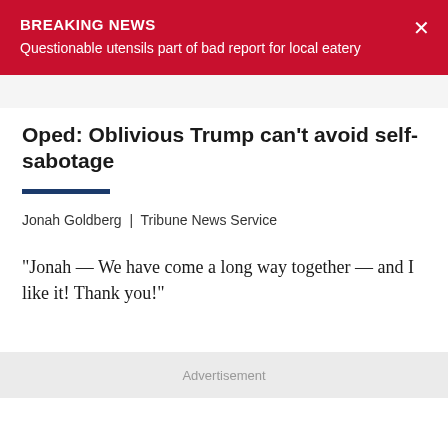BREAKING NEWS
Questionable utensils part of bad report for local eatery
Oped: Oblivious Trump can't avoid self-sabotage
Jonah Goldberg  |  Tribune News Service
"Jonah — We have come a long way together — and I like it! Thank you!"
Advertisement